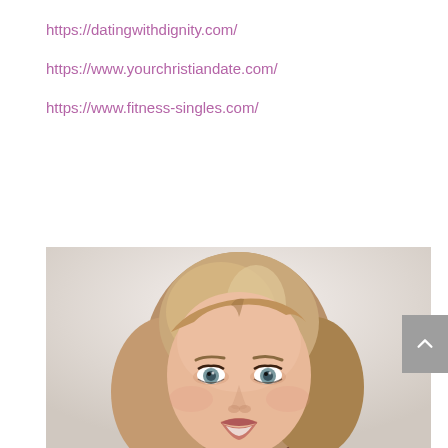https://datingwithdignity.com/
https://www.yourchristiandate.com/
https://www.fitness-singles.com/
[Figure (photo): Headshot photo of a smiling blonde woman with shoulder-length hair, light eyes, on a white/light grey background]